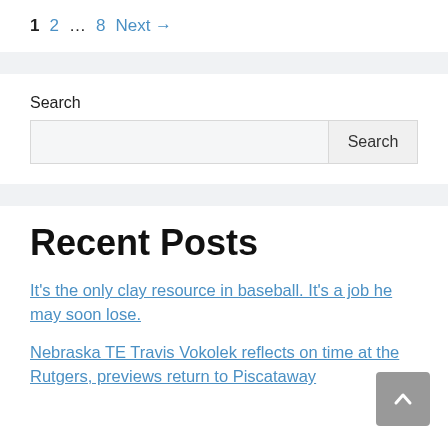1  2  …  8  Next →
Search
[Search input field] [Search button]
Recent Posts
It's the only clay resource in baseball. It's a job he may soon lose.
Nebraska TE Travis Vokolek reflects on time at the Rutgers, previews return to Piscataway